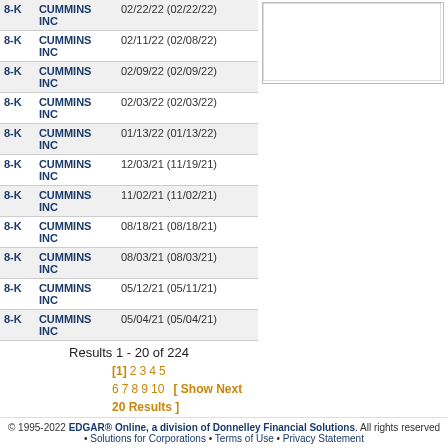| Type | Company | Date |
| --- | --- | --- |
| 8-K | CUMMINS INC | 02/22/22 (02/22/22) |
| 8-K | CUMMINS INC | 02/11/22 (02/08/22) |
| 8-K | CUMMINS INC | 02/09/22 (02/09/22) |
| 8-K | CUMMINS INC | 02/03/22 (02/03/22) |
| 8-K | CUMMINS INC | 01/13/22 (01/13/22) |
| 8-K | CUMMINS INC | 12/03/21 (11/19/21) |
| 8-K | CUMMINS INC | 11/02/21 (11/02/21) |
| 8-K | CUMMINS INC | 08/18/21 (08/18/21) |
| 8-K | CUMMINS INC | 08/03/21 (08/03/21) |
| 8-K | CUMMINS INC | 05/12/21 (05/11/21) |
| 8-K | CUMMINS INC | 05/04/21 (05/04/21) |
[Figure (other): Empty chart placeholder area with border]
© 2022 Chart IQC  EDGAR® ONLINE
Results 1 - 20 of 224
[1] 2 3 4 5 6 7 8 9 10 Next 2 Pages  [ Show Next 20 Results ]
© 1995-2022 EDGAR® Online, a division of Donnelley Financial Solutions. All rights reserved • Solutions for Corporations • Terms of Use • Privacy Statement